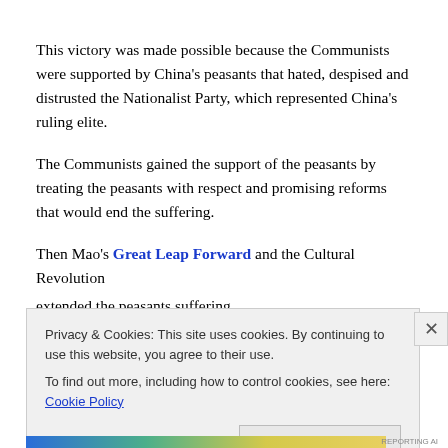This victory was made possible because the Communists were supported by China's peasants that hated, despised and distrusted the Nationalist Party, which represented China's ruling elite.
The Communists gained the support of the peasants by treating the peasants with respect and promising reforms that would end the suffering.
Then Mao's Great Leap Forward and the Cultural Revolution extended the peasants suffering.
However, since the early 1980s, the Communist Party has been
Privacy & Cookies: This site uses cookies. By continuing to use this website, you agree to their use.
To find out more, including how to control cookies, see here: Cookie Policy
Close and accept